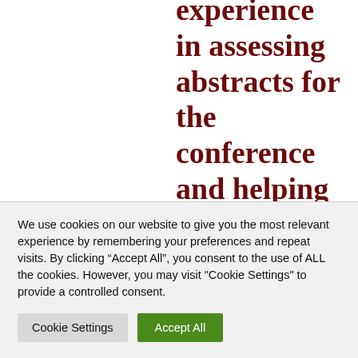experience in assessing abstracts for the conference and helping
We use cookies on our website to give you the most relevant experience by remembering your preferences and repeat visits. By clicking “Accept All”, you consent to the use of ALL the cookies. However, you may visit "Cookie Settings" to provide a controlled consent.